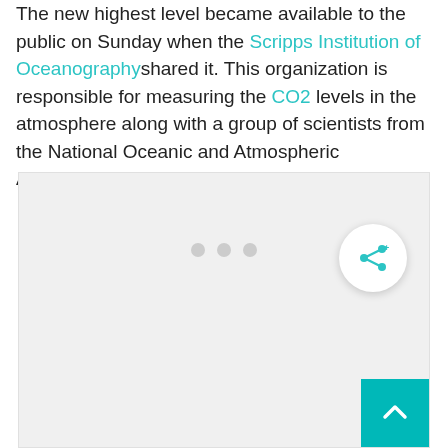The new highest level became available to the public on Sunday when the Scripps Institution of Oceanography shared it. This organization is responsible for measuring the CO2 levels in the atmosphere along with a group of scientists from the National Oceanic and Atmospheric Administration.
[Figure (other): Gray placeholder image area with three dots indicating a slideshow or image carousel, a circular share button with a share icon, and a teal back-to-top arrow button in the bottom right corner.]